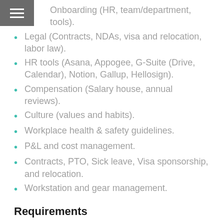Onboarding (HR, team/department, tools).
Legal (Contracts, NDAs, visa and relocation, labor law).
HR tools (Asana, Appogee, G-Suite (Drive, Calendar), Notion, Gallup, Hellosign).
Compensation (Salary house, annual reviews).
Culture (values and habits).
Workplace health & safety guidelines.
P&L and cost management.
Contracts, PTO, Sick leave, Visa sponsorship, and relocation.
Workstation and gear management.
Requirements